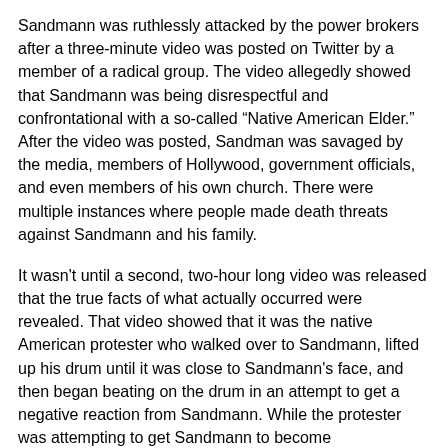Sandmann was ruthlessly attacked by the power brokers after a three-minute video was posted on Twitter by a member of a radical group. The video allegedly showed that Sandmann was being disrespectful and confrontational with a so-called “Native American Elder.” After the video was posted, Sandman was savaged by the media, members of Hollywood, government officials, and even members of his own church. There were multiple instances where people made death threats against Sandmann and his family.
It wasn't until a second, two-hour long video was released that the true facts of what actually occurred were revealed. That video showed that it was the native American protester who walked over to Sandmann, lifted up his drum until it was close to Sandmann's face, and then began beating on the drum in an attempt to get a negative reaction from Sandmann. While the protester was attempting to get Sandmann to become confrontational, Sandmann simply smiled and stared at the protester.
Despite what was revealed in the two-hour video, the power brokers have continued to attempt to destroy the